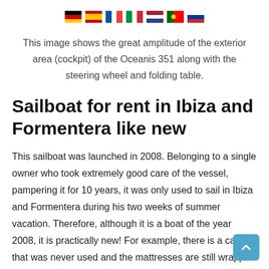[Figure (illustration): Row of seven country flag icons: Germany, Spain, France, Italy, Netherlands, Portugal, Russia]
This image shows the great amplitude of the exterior area (cockpit) of the Oceanis 351 along with the steering wheel and folding table.
Sailboat for rent in Ibiza and Formentera like new
This sailboat was launched in 2008. Belonging to a single owner who took extremely good care of the vessel, pampering it for 10 years, it was only used to sail in Ibiza and Formentera during his two weeks of summer vacation. Therefore, although it is a boat of the year 2008, it is practically new! For example, there is a cabin that was never used and the mattresses are still wrapped in the